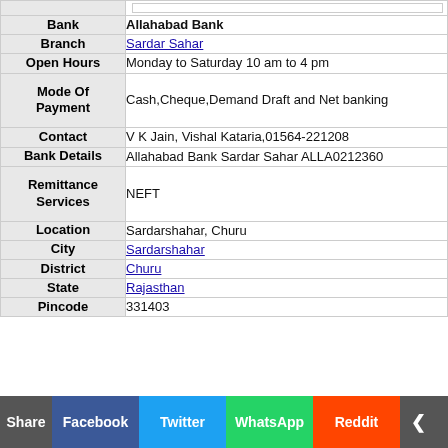| Field | Value |
| --- | --- |
| Bank | Allahabad Bank |
| Branch | Sardar Sahar |
| Open Hours | Monday to Saturday 10 am to 4 pm |
| Mode Of Payment | Cash,Cheque,Demand Draft and Net banking |
| Contact | V K Jain, Vishal Kataria,01564-221208 |
| Bank Details | Allahabad Bank Sardar Sahar ALLA0212360 |
| Remittance Services | NEFT |
| Location | Sardarshahar, Churu |
| City | Sardarshahar |
| District | Churu |
| State | Rajasthan |
| Pincode | 331403 |
Share | Facebook | Twitter | WhatsApp | Reddit